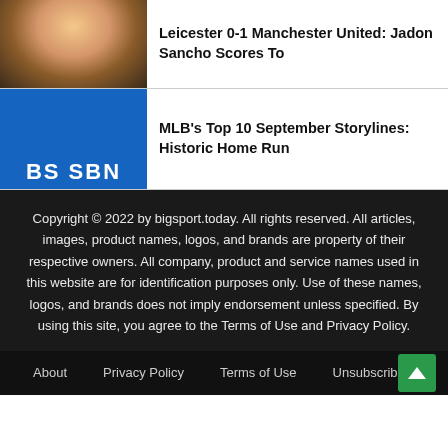[Figure (photo): Thumbnail photo of a smiling person, appearing to be an athlete, with crowd in background]
Leicester 0-1 Manchester United: Jadon Sancho Scores To
[Figure (logo): Blue square sports logo with white text reading BS SBN at the bottom]
MLB's Top 10 September Storylines: Historic Home Run
Copyright © 2022 by bigsport.today. All rights reserved. All articles, images, product names, logos, and brands are property of their respective owners. All company, product and service names used in this website are for identification purposes only. Use of these names, logos, and brands does not imply endorsement unless specified. By using this site, you agree to the Terms of Use and Privacy Policy.
About   Privacy Policy   Terms of Use   Unsubscribing